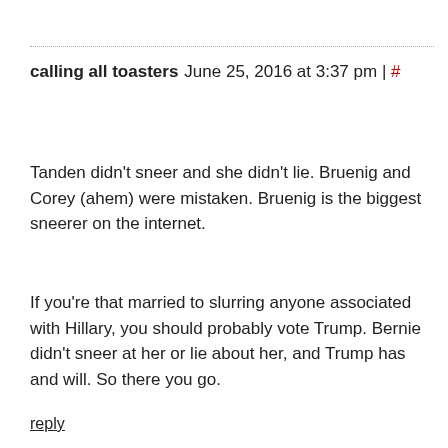calling all toasters   June 25, 2016 at 3:37 pm | #
Tanden didn't sneer and she didn't lie. Bruenig and Corey (ahem) were mistaken. Bruenig is the biggest sneerer on the internet.
If you're that married to slurring anyone associated with Hillary, you should probably vote Trump. Bernie didn't sneer at her or lie about her, and Trump has and will. So there you go.
reply